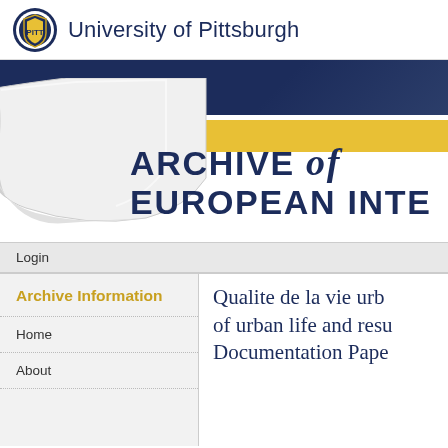University of Pittsburgh
[Figure (screenshot): University of Pittsburgh website header with navy blue banner, yellow stripe, page-curl graphic, and Archive of European Integration title text partially visible]
Login
Archive Information
Home
About
Qualite de la vie urb... of urban life and resu... Documentation Pape...